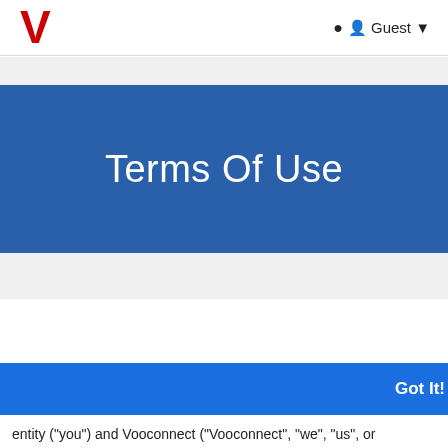Guest
Terms Of Use
Got It!
entity ("you") and Vooconnect ("Vooconnect", "we", "us", or